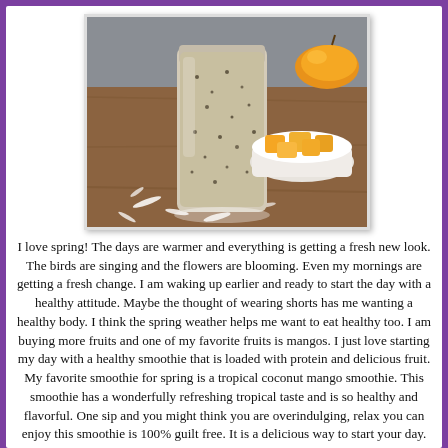[Figure (photo): A smoothie in a tall glass jar with chia seeds visible, surrounded by shredded coconut on a wooden surface, with a white bowl of mango chunks and a whole mango in the background.]
I love spring! The days are warmer and everything is getting a fresh new look. The birds are singing and the flowers are blooming. Even my mornings are getting a fresh change. I am waking up earlier and ready to start the day with a healthy attitude. Maybe the thought of wearing shorts has me wanting a healthy body. I think the spring weather helps me want to eat healthy too. I am buying more fruits and one of my favorite fruits is mangos. I just love starting my day with a healthy smoothie that is loaded with protein and delicious fruit. My favorite smoothie for spring is a tropical coconut mango smoothie. This smoothie has a wonderfully refreshing tropical taste and is so healthy and flavorful. One sip and you might think you are overindulging, relax you can enjoy this smoothie is 100% guilt free. It is a delicious way to start your day.